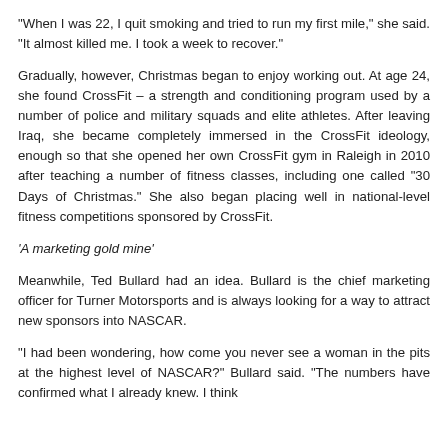“When I was 22, I quit smoking and tried to run my first mile,” she said. “It almost killed me. I took a week to recover.”
Gradually, however, Christmas began to enjoy working out. At age 24, she found CrossFit – a strength and conditioning program used by a number of police and military squads and elite athletes. After leaving Iraq, she became completely immersed in the CrossFit ideology, enough so that she opened her own CrossFit gym in Raleigh in 2010 after teaching a number of fitness classes, including one called “30 Days of Christmas.” She also began placing well in national-level fitness competitions sponsored by CrossFit.
‘A marketing gold mine’
Meanwhile, Ted Bullard had an idea. Bullard is the chief marketing officer for Turner Motorsports and is always looking for a way to attract new sponsors into NASCAR.
“I had been wondering, how come you never see a woman in the pits at the highest level of NASCAR?” Bullard said. “The numbers have confirmed what I already knew. I think